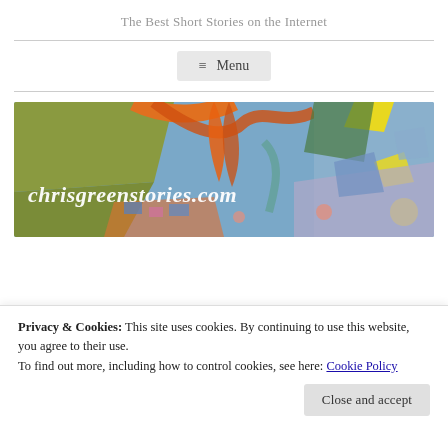The Best Short Stories on the Internet
[Figure (screenshot): Menu button with hamburger icon, gray background]
[Figure (illustration): colorful abstract painting banner with text 'chrisgreenstories.com' overlaid in white italic]
Privacy & Cookies: This site uses cookies. By continuing to use this website, you agree to their use.
To find out more, including how to control cookies, see here: Cookie Policy
Close and accept